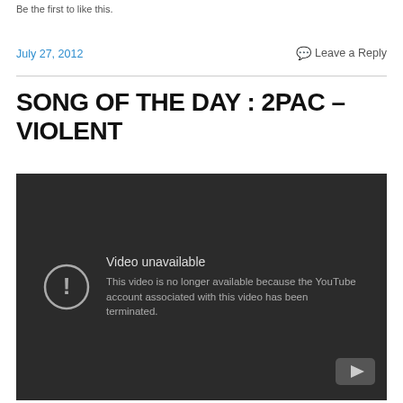Be the first to like this.
July 27, 2012   Leave a Reply
SONG OF THE DAY : 2PAC – VIOLENT
[Figure (screenshot): Embedded YouTube video player showing 'Video unavailable' error. Text reads: 'This video is no longer available because the YouTube account associated with this video has been terminated.' Dark background with YouTube logo in bottom right corner.]